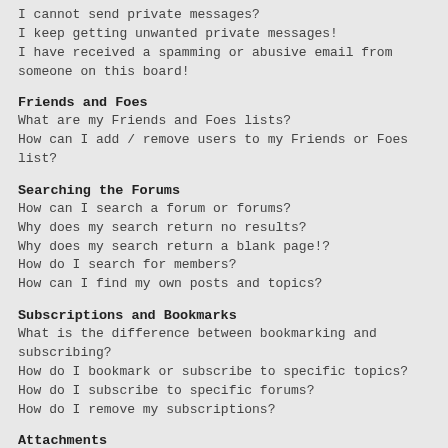I cannot send private messages?
I keep getting unwanted private messages!
I have received a spamming or abusive email from someone on this board!
Friends and Foes
What are my Friends and Foes lists?
How can I add / remove users to my Friends or Foes list?
Searching the Forums
How can I search a forum or forums?
Why does my search return no results?
Why does my search return a blank page!?
How do I search for members?
How can I find my own posts and topics?
Subscriptions and Bookmarks
What is the difference between bookmarking and subscribing?
How do I bookmark or subscribe to specific topics?
How do I subscribe to specific forums?
How do I remove my subscriptions?
Attachments
What attachments are allowed on this board?
How do I find all my attachments?